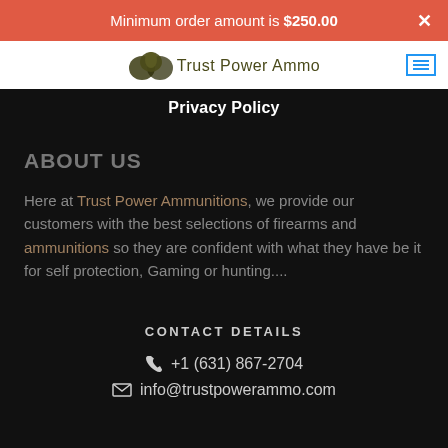Minimum order amount is $250.00
[Figure (logo): Trust Power Ammo logo with stylized bullet graphic and text]
Privacy Policy
ABOUT US
Here at Trust Power Ammunitions, we provide our customers with the best selections of firearms and ammunitions so they are confident with what they have be it for self protection, Gaming or hunting....
CONTACT DETAILS
+1 (631) 867-2704
info@trustpowerammo.com